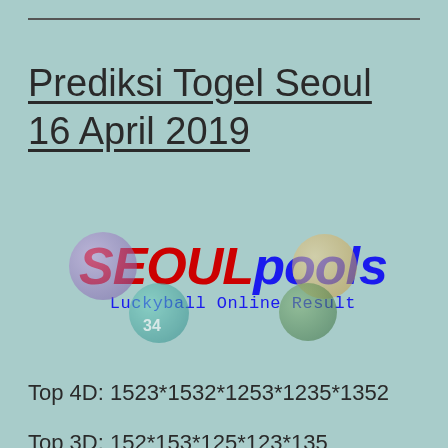Prediksi Togel Seoul 16 April 2019
[Figure (logo): SEOULpools logo with colored billiard balls and tagline 'Luckyball Online Result']
Top 4D: 1523*1532*1253*1235*1352
Top 3D: 152*153*125*123*135